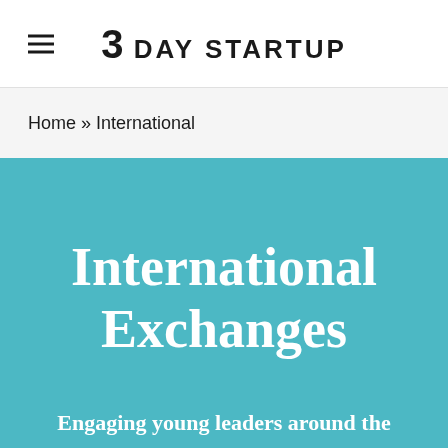3 DAY STARTUP
Home » International
International Exchanges
Engaging young leaders around the